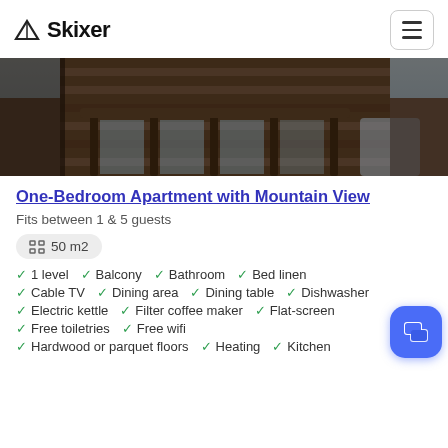Skixer
[Figure (photo): Wooden balcony with railing and mountain view in winter, dark wood construction]
One-Bedroom Apartment with Mountain View
Fits between 1 & 5 guests
50 m2
1 level
Balcony
Bathroom
Bed linen
Cable TV
Dining area
Dining table
Dishwasher
Electric kettle
Filter coffee maker
Flat-screen
Free toiletries
Free wifi
Hardwood or parquet floors
Heating
Kitchen